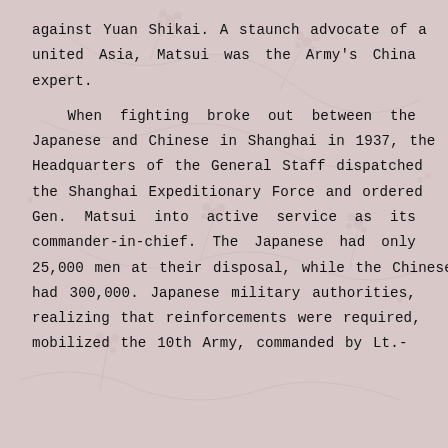against Yuan Shikai. A staunch advocate of a united Asia, Matsui was the Army's China expert.

When fighting broke out between the Japanese and Chinese in Shanghai in 1937, the Headquarters of the General Staff dispatched the Shanghai Expeditionary Force and ordered Gen. Matsui into active service as its commander-in-chief. The Japanese had only 25,000 men at their disposal, while the Chinese had 300,000. Japanese military authorities, realizing that reinforcements were required, mobilized the 10th Army, commanded by Lt.-